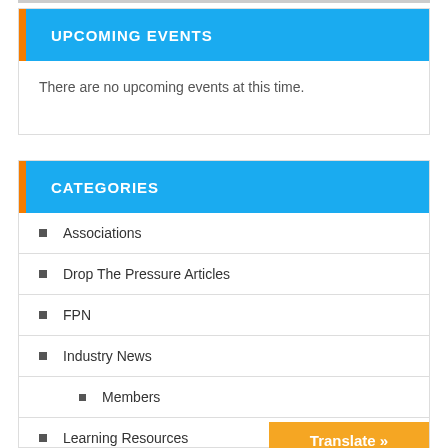UPCOMING EVENTS
There are no upcoming events at this time.
CATEGORIES
Associations
Drop The Pressure Articles
FPN
Industry News
Members
Learning Resources